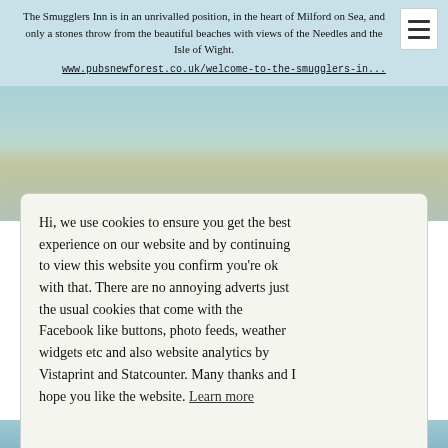The Smugglers Inn is in an unrivalled position, in the heart of Milford on Sea, and only a stones throw from the beautiful beaches with views of the Needles and the Isle of Wight.
www.pubsnewforest.co.uk/welcome-to-the-smugglers-in...
[Figure (photo): Blurry outdoor photo of a coastal or pub scene, muted blue-green tones with a warm golden area suggesting sky and landscape.]
Hi, we use cookies to ensure you get the best experience on our website and by continuing to view this website you confirm you're ok with that. There are no annoying adverts just the usual cookies that come with the Facebook like buttons, photo feeds, weather widgets etc and also website analytics by Vistaprint and Statcounter. Many thanks and I hope you like the website. Learn more